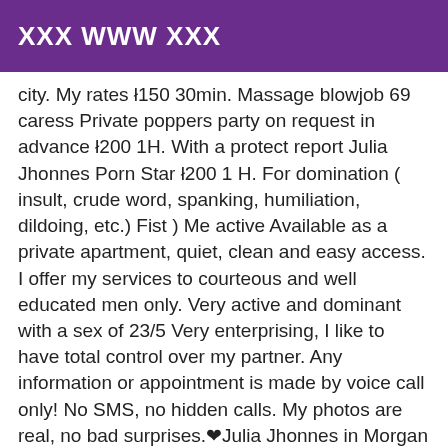XXX WWW XXX
city. My rates Ł150 30min. Massage blowjob 69 caress Private poppers party on request in advance Ł200 1H. With a protect report Julia Jhonnes Porn Star Ł200 1 H. For domination ( insult, crude word, spanking, humiliation, dildoing, etc.) Fist ) Me active Available as a private apartment, quiet, clean and easy access. I offer my services to courteous and well educated men only. Very active and dominant with a sex of 23/5 Very enterprising, I like to have total control over my partner. Any information or appointment is made by voice call only! No SMS, no hidden calls. My photos are real, no bad surprises.❤Julia Jhonnes in Morgan City for the passive gourmet ------ PRIVATE AND DISCRETE------- (STOP FAKES) 100% REAL PHOTOS AND NO BAD SURPRISES AT THE RDV. Hello my love ,Ready to Try my Anaconda in you Asshole???? ❤TRES Active ❤Je I'm a Latin transsexual, smiling and my photos are real and I'm a young transsexual, eager for new encounters with